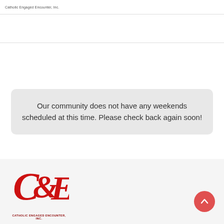Catholic Engaged Encounter, Inc.
Our community does not have any weekends scheduled at this time. Please check back again soon!
[Figure (logo): Catholic Engaged Encounter, Inc. logo — red decorative C&E ampersand monogram with tagline 'CATHOLIC ENGAGED ENCOUNTER, INC.']